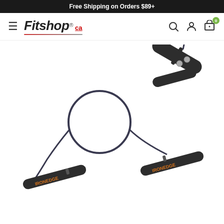Free Shipping on Orders $89+
[Figure (logo): Fitshop.ca logo with hamburger menu icon on left side of navigation bar]
[Figure (photo): Jump rope product photo showing two dark handles with orange IronEdge branding text, a coiled black cable, and a close-up detail of the handle mechanism on the right side, on a white background]